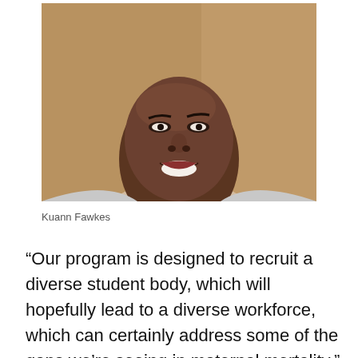[Figure (photo): Portrait photo of Kuann Fawkes, a young woman smiling at the camera, wearing a light gray sweatshirt and a delicate necklace, photographed against a warm tan/stone background.]
Kuann Fawkes
“Our program is designed to recruit a diverse student body, which will hopefully lead to a diverse workforce, which can certainly address some of the gaps we’re seeing in maternal mortality,” says Story. “But it’s not just the